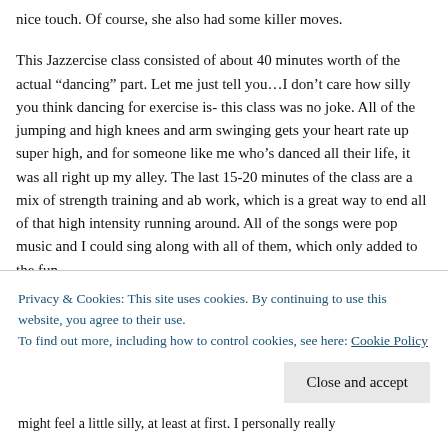nice touch. Of course, she also had some killer moves.
This Jazzercise class consisted of about 40 minutes worth of the actual “dancing” part. Let me just tell you…I don’t care how silly you think dancing for exercise is- this class was no joke. All of the jumping and high knees and arm swinging gets your heart rate up super high, and for someone like me who’s danced all their life, it was all right up my alley. The last 15-20 minutes of the class are a mix of strength training and ab work, which is a great way to end all of that high intensity running around. All of the songs were pop music and I could sing along with all of them, which only added to the fun.
All in all, I really enjoyed the class and would encourage you to go try one if there’s a Jazzercise studio in the area. No leg
Privacy & Cookies: This site uses cookies. By continuing to use this website, you agree to their use.
To find out more, including how to control cookies, see here: Cookie Policy
Close and accept
might feel a little silly, at least at first. I personally really